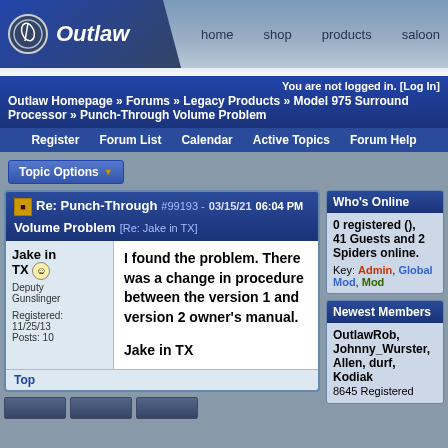Outlaw — home | shop | products | saloon
You are not logged in. [Log In]
Outlaw Homepage » Forums » Legacy Products » Model 975 Surround Processor » Punch-Through Volume Problem
Register  Forum List  Calendar  Active Topics  Forum Help
Topic Options
Re: Punch-Through Volume Problem  #99193 - 03/15/21 06:04 PM  [Re: Jake in TX]
Jake in TX
Deputy Gunslinger
Registered: 11/25/13
Posts: 10
I found the problem. There was a change in procedure between the version 1 and version 2 owner's manual.

Jake in TX
Top
Who's Online
0 registered (), 41 Guests and 2 Spiders online.
Key: Admin, Global Mod, Mod
Newest Members
OutlawRob, Johnny_Wurster, Allen, durf, Kodiak
8645 Registered